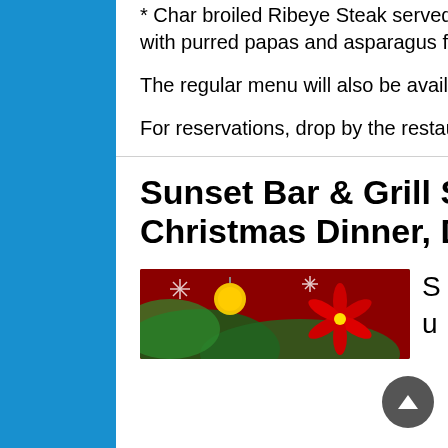* Char broiled Ribeye Steak served plain or in mushroom sauce with purred papas and asparagus for 650 pesos.
The regular menu will also be available.
For reservations, drop by the restaurant, or call 622-226-1888.
Sunset Bar & Grill Special Christmas Dinner, December 24
[Figure (photo): Christmas decorations photo with ornaments and poinsettia flowers on a red background]
Su